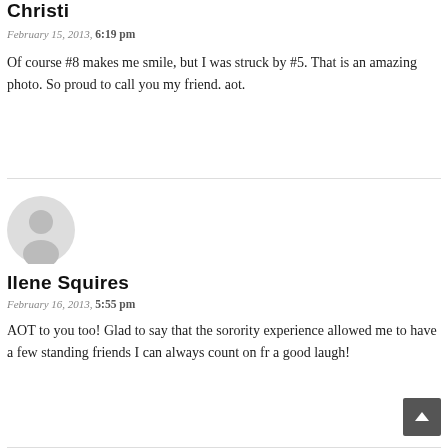Christi
February 15, 2013, 6:19 pm
Of course #8 makes me smile, but I was struck by #5. That is an amazing photo. So proud to call you my friend. aot.
[Figure (illustration): Default user avatar — grey circle with silhouette of a person]
Ilene Squires
February 16, 2013, 5:55 pm
AOT to you too! Glad to say that the sorority experience allowed me to have a few standing friends I can always count on fr a good laugh!